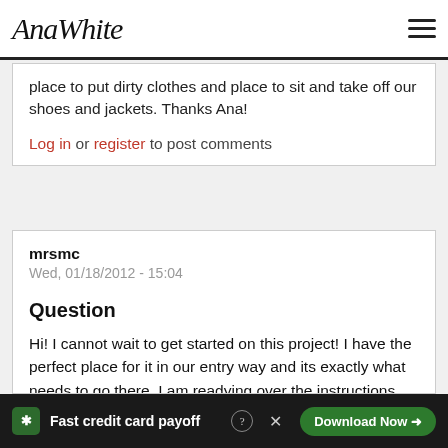AnaWhite
place to put dirty clothes and place to sit and take off our shoes and jackets. Thanks Ana!
Log in or register to post comments
mrsmc
Wed, 01/18/2012 - 15:04
Question
Hi! I cannot wait to get started on this project! I have the perfect place for it in our entry way and its exactly what needs to go there. I am readying over the instructions tho and I have a question I'm hoping you the on the
Fast credit card payoff  Download Now